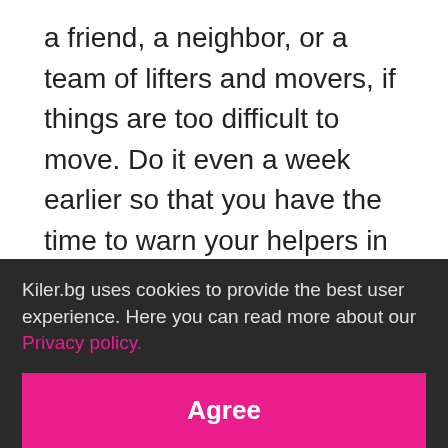a friend, a neighbor, or a team of lifters and movers, if things are too difficult to move. Do it even a week earlier so that you have the time to warn your helpers in advance.
Step 2: Get well equipped
Please do not move furniture, boxes or large objects with hard edges to the storage premises - with slippers or flip-flops. Yes, you will certainly save time,
Kiler.bg uses cookies to provide the best user experience. Here you can read more about our Privacy policy.
Agree